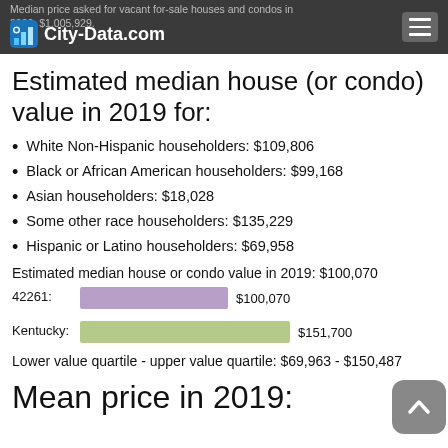City-Data.com | Median price asked for vacant for-sale houses and condos in 2023: $1,005,929.
Estimated median house (or condo) value in 2019 for:
White Non-Hispanic householders: $109,806
Black or African American householders: $99,168
Asian householders: $18,028
Some other race householders: $135,229
Hispanic or Latino householders: $69,958
Estimated median house or condo value in 2019: $100,070
[Figure (bar-chart): Estimated median house or condo value in 2019]
Lower value quartile - upper value quartile: $69,963 - $150,487
Mean price in 2019: